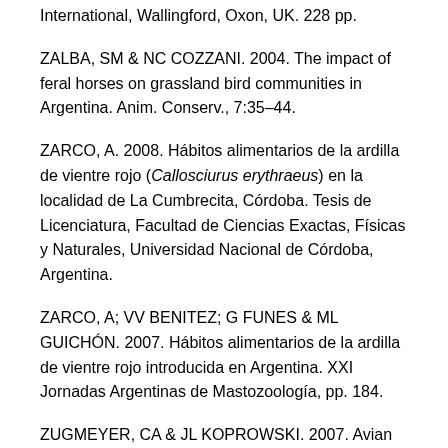International, Wallingford, Oxon, UK. 228 pp.
ZALBA, SM & NC COZZANI. 2004. The impact of feral horses on grassland bird communities in Argentina. Anim. Conserv., 7:35–44.
ZARCO, A. 2008. Hábitos alimentarios de la ardilla de vientre rojo (Callosciurus erythraeus) en la localidad de La Cumbrecita, Córdoba. Tesis de Licenciatura, Facultad de Ciencias Exactas, Físicas y Naturales, Universidad Nacional de Córdoba, Argentina.
ZARCO, A; VV BENITEZ; G FUNES & ML GUICHÓN. 2007. Hábitos alimentarios de la ardilla de vientre rojo introducida en Argentina. XXI Jornadas Argentinas de Mastozoología, pp. 184.
ZUGMEYER, CA & JL KOPROWSKI. 2007. Avian nestling predation by endangered Mount Graham red squirrel…